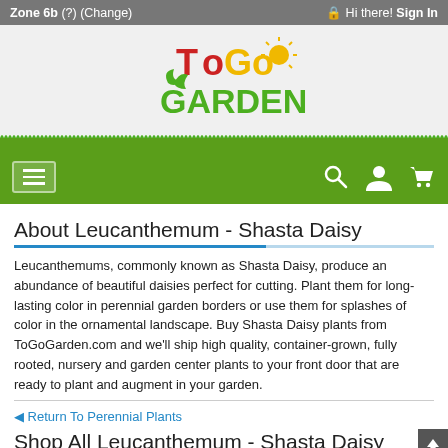Zone 6b (?) (Change)   Hi there! Sign In
[Figure (logo): ToGoGarden logo with red 'To', yellow 'Go', and green 'GARDEN' text with sun and leaf icons]
About Leucanthemum - Shasta Daisy
Leucanthemums, commonly known as Shasta Daisy, produce an abundance of beautiful daisies perfect for cutting. Plant them for long-lasting color in perennial garden borders or use them for splashes of color in the ornamental landscape. Buy Shasta Daisy plants from ToGoGarden.com and we'll ship high quality, container-grown, fully rooted, nursery and garden center plants to your front door that are ready to plant and augment in your garden.
Return To Perennial Plants
Shop All Leucanthemum - Shasta Daisy